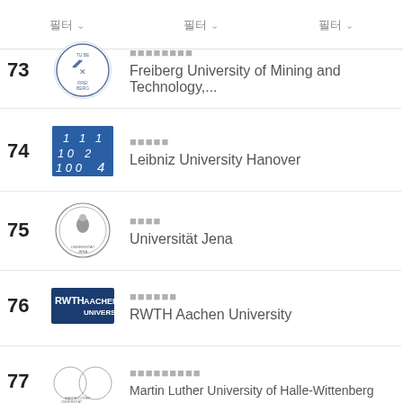필터 드롭다운 메뉴 (필터 ∨, 필터 ∨, 필터 ∨)
73 - Freiberg University of Mining and Technology,...
74 - Leibniz University Hanover
75 - Universität Jena
76 - RWTH Aachen University
77 - Martin Luther University of Halle-Wittenberg